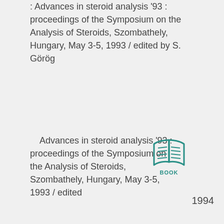: Advances in steroid analysis '93 : proceedings of the Symposium on the Analysis of Steroids, Szombathely, Hungary, May 3-5, 1993 / edited by S. Görög
Advances in steroid analysis '93 : proceedings of the Symposium on the Analysis of Steroids, Szombathely, Hungary, May 3-5, 1993 / edited
[Figure (illustration): Open book icon in teal/green color with BOOK label underneath]
1994